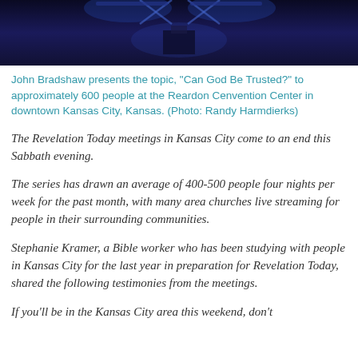[Figure (photo): Dark blue-lit stage scene, likely a church or convention center event with lighting rigs and podium visible in silhouette.]
John Bradshaw presents the topic, "Can God Be Trusted?" to approximately 600 people at the Reardon Cenvention Center in downtown Kansas City, Kansas. (Photo: Randy Harmdierks)
The Revelation Today meetings in Kansas City come to an end this Sabbath evening.
The series has drawn an average of 400-500 people four nights per week for the past month, with many area churches live streaming for people in their surrounding communities.
Stephanie Kramer, a Bible worker who has been studying with people in Kansas City for the last year in preparation for Revelation Today, shared the following testimonies from the meetings.
If you'll be in the Kansas City area this weekend, don't